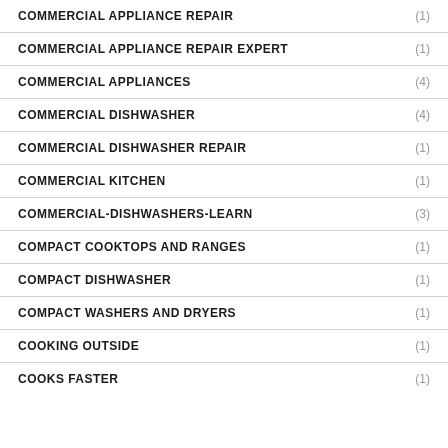COMMERCIAL APPLIANCE REPAIR (1)
COMMERCIAL APPLIANCE REPAIR EXPERT (1)
COMMERCIAL APPLIANCES (4)
COMMERCIAL DISHWASHER (4)
COMMERCIAL DISHWASHER REPAIR (1)
COMMERCIAL KITCHEN (1)
COMMERCIAL-DISHWASHERS-LEARN (3)
COMPACT COOKTOPS AND RANGES (1)
COMPACT DISHWASHER (1)
COMPACT WASHERS AND DRYERS (1)
COOKING OUTSIDE (1)
COOKS FASTER (1)